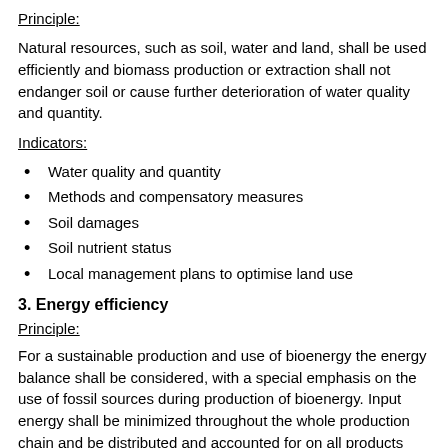Principle:
Natural resources, such as soil, water and land, shall be used efficiently and biomass production or extraction shall not endanger soil or cause further deterioration of water quality and quantity.
Indicators:
Water quality and quantity
Methods and compensatory measures
Soil damages
Soil nutrient status
Local management plans to optimise land use
3. Energy efficiency
Principle:
For a sustainable production and use of bioenergy the energy balance shall be considered, with a special emphasis on the use of fossil sources during production of bioenergy. Input energy shall be minimized throughout the whole production chain and be distributed and accounted for on all products (main and by-products) based on an average product value proportion basis.